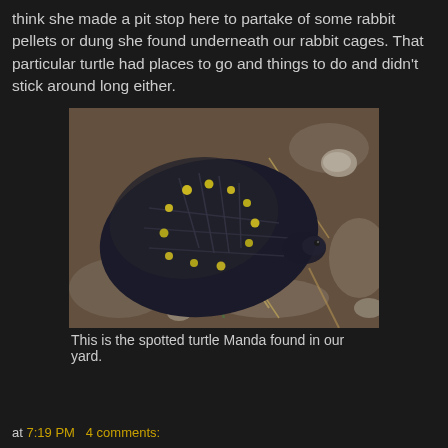think she made a pit stop here to partake of some rabbit pellets or dung she found underneath our rabbit cages. That particular turtle had places to go and things to do and didn't stick around long either.
[Figure (photo): A spotted turtle (dark shell with yellow spots) photographed from above on dirt ground with dry grass and small stones.]
This is the spotted turtle Manda found in our yard.
at 7:19 PM   4 comments: